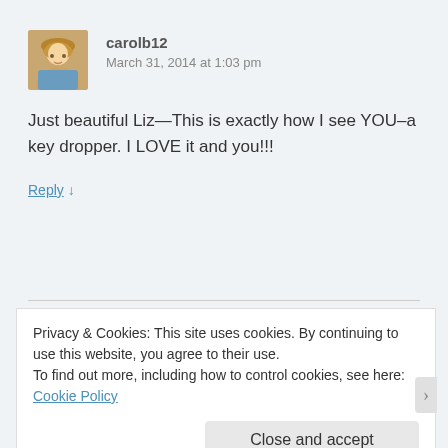[Figure (photo): Avatar photo of a blonde woman smiling]
carolb12
March 31, 2014 at 1:03 pm
Just beautiful Liz—This is exactly how I see YOU–a key dropper. I LOVE it and you!!!
Reply ↓
Privacy & Cookies: This site uses cookies. By continuing to use this website, you agree to their use.
To find out more, including how to control cookies, see here: Cookie Policy
Close and accept